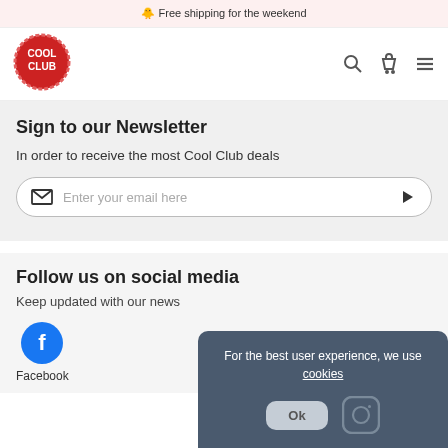🐥 Free shipping for the weekend
[Figure (logo): Cool Club red circular logo with white bold text]
Sign to our Newsletter
In order to receive the most Cool Club deals
Enter your email here
Follow us on social media
Keep updated with our news
Facebook
Instagram
For the best user experience, we use cookies